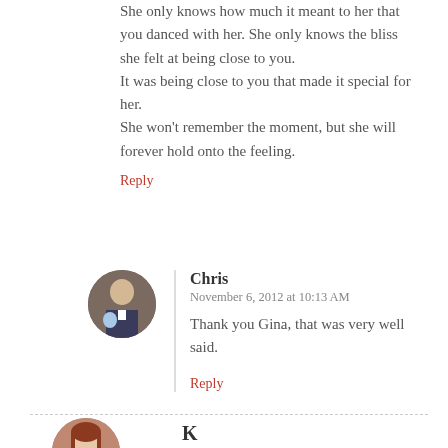She only knows how much it meant to her that you danced with her. She only knows the bliss she felt at being close to you. It was being close to you that made it special for her. She won't remember the moment, but she will forever hold onto the feeling.
Reply
[Figure (photo): Circular avatar photo of a man (Chris) in a suit holding a child]
Chris
November 6, 2012 at 10:13 AM
Thank you Gina, that was very well said.
Reply
[Figure (photo): Circular avatar photo of a woman with auburn hair, partially visible at bottom of page (K)]
K